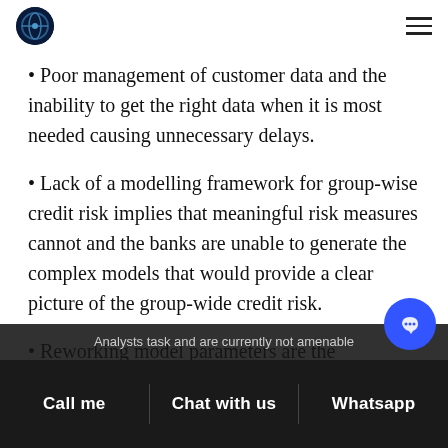[Logo] [Hamburger menu]
Poor management of customer data and the inability to get the right data when it is most needed causing unnecessary delays.
Lack of a modelling framework for group-wise credit risk implies that meaningful risk measures cannot and the banks are unable to generate the complex models that would provide a clear picture of the group-wide credit risk.
Reworking model parameters are the Analysts task and are currently not amenable...
Call me   Chat with us   Whatsapp